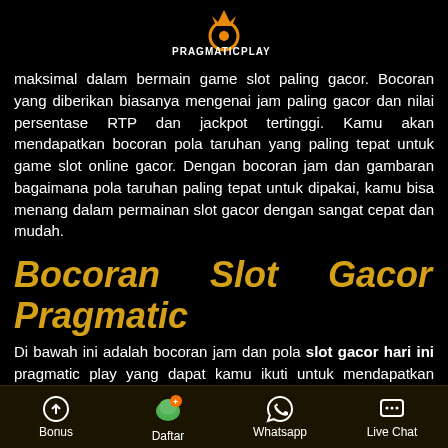[Figure (logo): Pragmatic Play logo — orange circle with ball and crown, text PRAGMATIC PLAY in white]
maksimal dalam bermain game slot paling gacor. Bocoran yang diberikan biasanya mengenai jam paling gacor dan nilai persentase RTP dan jackpot tertinggi. Kamu akan mendapatkan bocoran pola taruhan yang paling tepat untuk game slot online gacor. Dengan bocoran jam dan gambaran bagaimana pola taruhan paling tepat untuk dipakai, kamu bisa menang dalam permainan slot gacor dengan sangat cepat dan mudah.
Bocoran Slot Gacor Pragmatic
Di bawah ini adalah bocoran jam dan pola slot gacor hari ini pragmatic play yang dapat kamu ikuti untuk mendapatkan kemenangan dan judi slot online jackpot terbesar.
Bonus  Daftar  Whatsapp  Live Chat